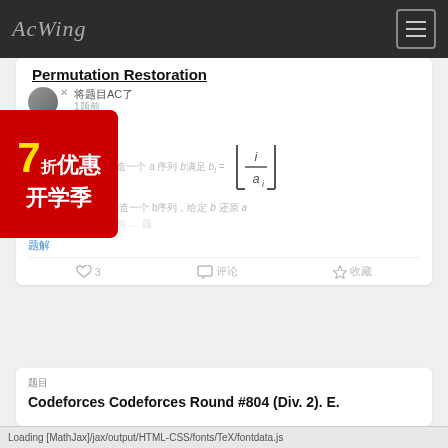AcWing
Permutation Restoration
将题目AC了  1题
题目描述
给定一个 a 序列，构造一个 b序列，给定 b 还原 a
...
题解
题目  题目
Codeforces Codeforces Round #804 (Div. 2). E.
Loading [MathJax]/jax/output/HTML-CSS/fonts/TeX/fontdata.js